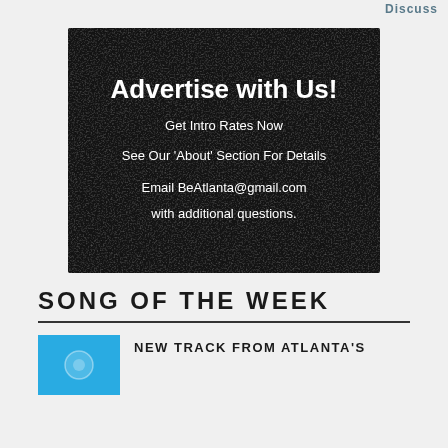Discuss
[Figure (illustration): Advertisement banner on dark textured chalkboard background with white handwritten-style text: 'Advertise with Us! Get Intro Rates Now See Our About Section For Details Email BeAtlanta@gmail.com with additional questions.']
SONG OF THE WEEK
[Figure (photo): Blue square thumbnail image for a music track]
NEW TRACK FROM ATLANTA'S